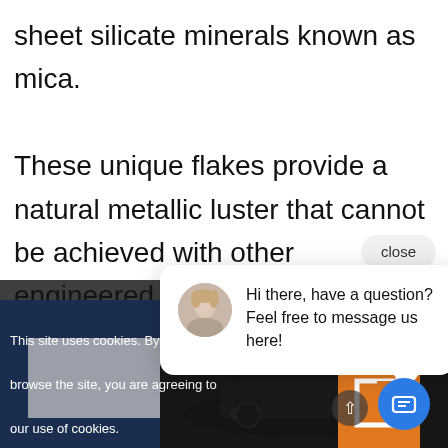sheet silicate minerals known as mica. These unique flakes provide a natural metallic luster that cannot be achieved with other engineered materials.
[Figure (screenshot): Close button UI element]
[Figure (screenshot): Chat popup with avatar showing: Hi there, have a question? Feel free to message us here!]
[Figure (photo): Blue panel with metallic reflective surface, dark background with car visible, orange logo, chat circle button, up arrow button]
This site uses cookies. By continuing to browse the site, you are agreeing to our use of cookies.